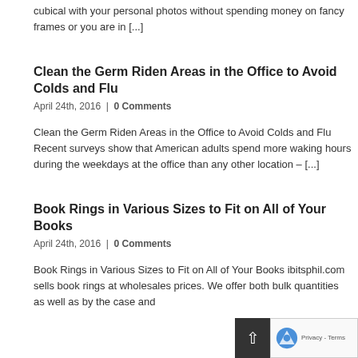cubical with your personal photos without spending money on fancy frames or you are in [...]
Clean the Germ Riden Areas in the Office to Avoid Colds and Flu
April 24th, 2016 | 0 Comments
Clean the Germ Riden Areas in the Office to Avoid Colds and Flu  Recent surveys show that American adults spend more waking hours during the weekdays at the office than any other location – [...]
Book Rings in Various Sizes to Fit on All of Your Books
April 24th, 2016 | 0 Comments
Book Rings in Various Sizes to Fit on All of Your Books ibitsphil.com sells book rings at wholesales prices. We offer both bulk quantities as well as by the case and